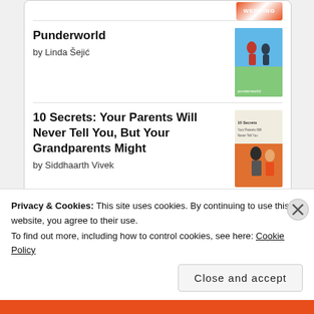[Figure (illustration): Book entry: Punderworld by Linda Šejić with cover image showing two illustrated figures on a green/blue background]
Punderworld
by Linda Šejić
[Figure (illustration): Book entry: 10 Secrets: Your Parents Will Never Tell You, But Your Grandparents Might by Siddhaarth Vivek with cover image showing illustrated figures on orange/white background]
10 Secrets: Your Parents Will Never Tell You, But Your Grandparents Might
by Siddhaarth Vivek
[Figure (logo): goodreads logo in a rounded rectangle button]
CATEGORIES
Privacy & Cookies: This site uses cookies. By continuing to use this website, you agree to their use.
To find out more, including how to control cookies, see here: Cookie Policy
Close and accept